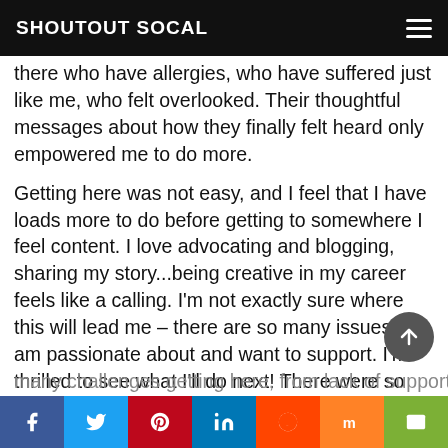SHOUTOUT SOCAL
there who have allergies, who have suffered just like me, who felt overlooked. Their thoughtful messages about how they finally felt heard only empowered me to do more.
Getting here was not easy, and I feel that I have loads more to do before getting to somewhere I feel content. I love advocating and blogging, sharing my story...being creative in my career feels like a calling. I'm not exactly sure where this will lead me – there are so many issues I am passionate about and want to support. I'm thrilled to see what I'll do next! There were so many challenges getting here, from lack of support to time management between my day
Facebook, Twitter, Pinterest, LinkedIn, Reddit, Mix, Email social share buttons